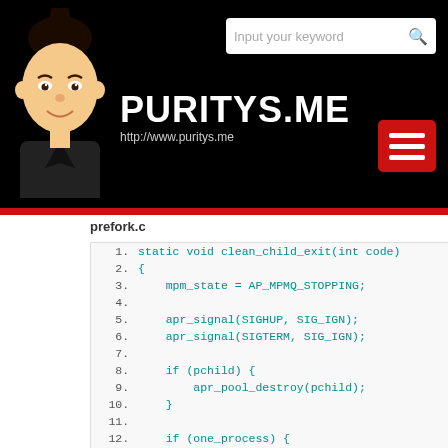[Figure (illustration): Website header with dark background, avatar/cartoon logo, PURITYS.ME site title, URL http://www.puritys.me, search bar, red hamburger menu button, and red divider line.]
prefork.c
1.  static void clean_child_exit(int code)
2.  {
3.      mpm_state = AP_MPMQ_STOPPING;
4.
5.      apr_signal(SIGHUP, SIG_IGN);
6.      apr_signal(SIGTERM, SIG_IGN);
7.
8.      if (pchild) {
9.          apr_pool_destroy(pchild);
10.     }
11.
12.     if (one_process) {
13.         prefork_note_child_killed(/* s
14.     }
15.
16.     ap_mpm_pod_close(my_bucket->pod);
17.     chdir_for_gprof();
18.     exit(code);
19. }